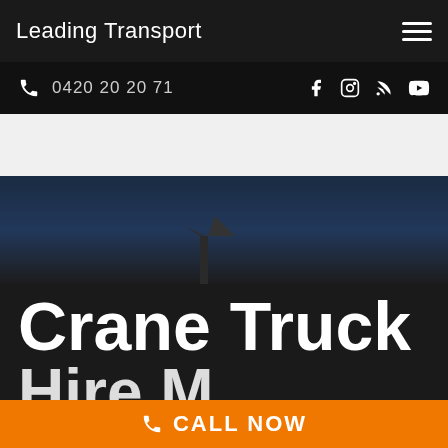Leading Transport
0420 20 20 71
[Figure (photo): Hero image with night sky and crane truck silhouette]
Crane Truck
CALL NOW